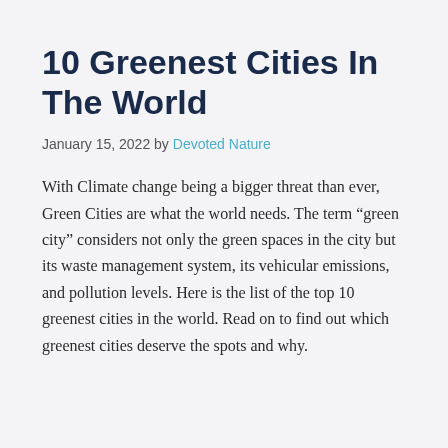10 Greenest Cities In The World
January 15, 2022 by Devoted Nature
With Climate change being a bigger threat than ever, Green Cities are what the world needs. The term “green city” considers not only the green spaces in the city but its waste management system, its vehicular emissions, and pollution levels. Here is the list of the top 10 greenest cities in the world. Read on to find out which greenest cities deserve the spots and why.